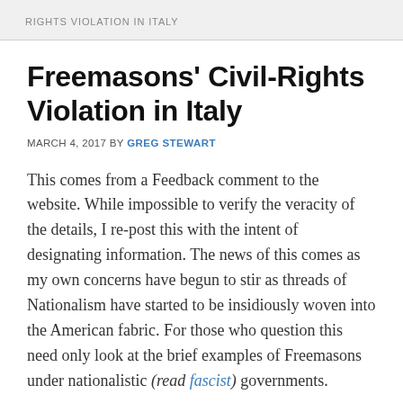RIGHTS VIOLATION IN ITALY
Freemasons' Civil-Rights Violation in Italy
MARCH 4, 2017 BY GREG STEWART
This comes from a Feedback comment to the website. While impossible to verify the veracity of the details, I re-post this with the intent of designating information. The news of this comes as my own concerns have begun to stir as threads of Nationalism have started to be insidiously woven into the American fabric. For those who question this need only look at the brief examples of Freemasons under nationalistic (read fascist) governments.